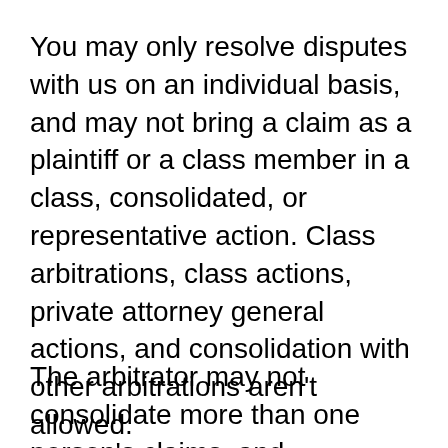You may only resolve disputes with us on an individual basis, and may not bring a claim as a plaintiff or a class member in a class, consolidated, or representative action. Class arbitrations, class actions, private attorney general actions, and consolidation with other arbitrations aren't allowed.
The arbitrator may not consolidate more than one person's claims, and